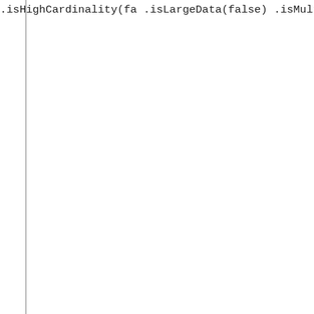.isHighCardinality(fa
.isLargeData(false)
.isMultiValued(true)
.isPrimary(true)
.isSystem(true)
.isSummarizable(true
.mappedValue("EXAMPL
.isMetricKeyEligible
.isMetricValueEligib
.rangeFacetEligible(
.isTableEligible(tru
.unitType("EXAMPLE-u
.displayRegularExpression
.extendedFields(new Array
.field(LogAnalyt
.ceeAlias("EX
.dataType("EX
.regularExpre
.description
.displayName
.editVersion
.facetPriori